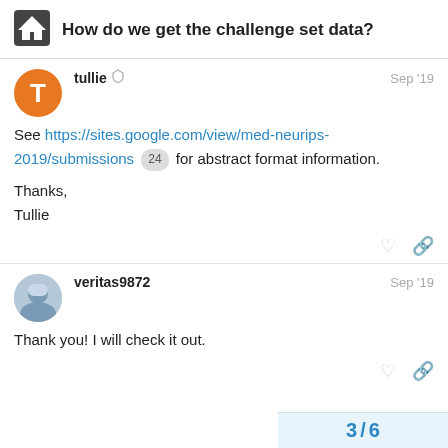How do we get the challenge set data?
tullie   Sep '19
See https://sites.google.com/view/med-neurips-2019/submissions 24 for abstract format information.
Thanks,
Tullie
veritas9872   Sep '19
Thank you! I will check it out.
3 / 6